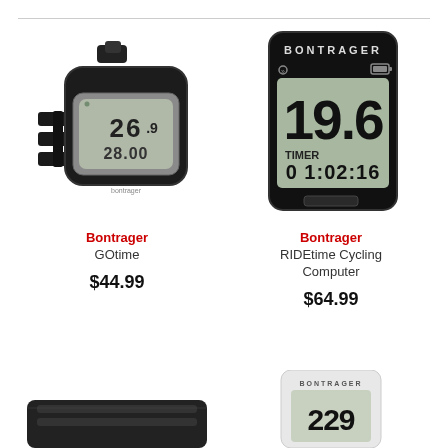[Figure (photo): Bontrager GOtime cycling computer, black compact device with digital display showing 26.9 and 28.00]
[Figure (photo): Bontrager RIDEtime Cycling Computer, larger black rectangular device with LCD display showing 19.6 and TIMER 0 1:02:16]
Bontrager
GOtime
$44.99
Bontrager
RIDEtime Cycling Computer
$64.99
[Figure (photo): Partial view of a flat black cycling accessory at bottom left]
[Figure (photo): Partial view of Bontrager cycling computer screen at bottom right showing 229]